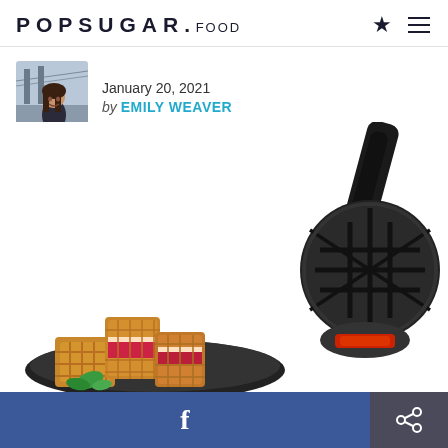POPSUGAR. FOOD
January 20, 2021
by EMILY WEAVER
[Figure (photo): Mini waffle maker appliance shown open with round black gridded cooking plates, alongside a plate of waffles with red berry jam filling and mint garnish on a dark plate]
[Figure (photo): Author avatar photo — woman smiling outdoors with bridge in background]